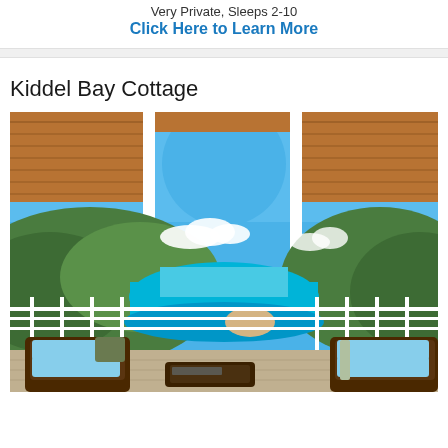Very Private, Sleeps 2-10
Click Here to Learn More
Kiddel Bay Cottage
[Figure (photo): View from a covered deck or pergola with wooden lattice roof and circular cutout, looking out over lush green hillside, turquoise bay, blue ocean, and white railing, with wicker lounge chairs in the foreground.]